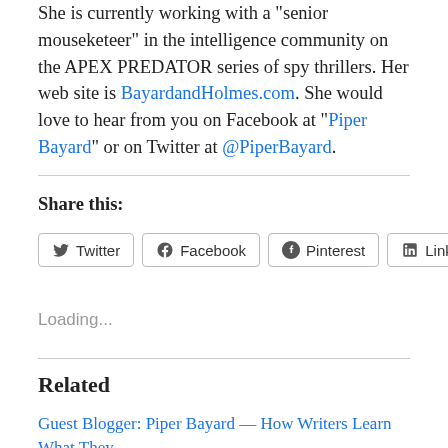She is currently working with a "senior mouseketeer" in the intelligence community on the APEX PREDATOR series of spy thrillers. Her web site is BayardandHolmes.com. She would love to hear from you on Facebook at "Piper Bayard" or on Twitter at @PiperBayard.
Share this:
Loading...
Related
Guest Blogger: Piper Bayard — How Writers Learn What They